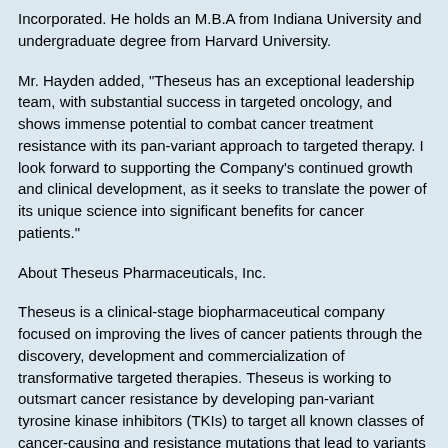Incorporated. He holds an M.B.A from Indiana University and undergraduate degree from Harvard University.
Mr. Hayden added, "Theseus has an exceptional leadership team, with substantial success in targeted oncology, and shows immense potential to combat cancer treatment resistance with its pan-variant approach to targeted therapy. I look forward to supporting the Company's continued growth and clinical development, as it seeks to translate the power of its unique science into significant benefits for cancer patients."
About Theseus Pharmaceuticals, Inc.
Theseus is a clinical-stage biopharmaceutical company focused on improving the lives of cancer patients through the discovery, development and commercialization of transformative targeted therapies. Theseus is working to outsmart cancer resistance by developing pan-variant tyrosine kinase inhibitors (TKIs) to target all known classes of cancer-causing and resistance mutations that lead to variants in a particular protein in a given type of cancer. Theseus' lead product candidate, THE-630, is a pan-variant KIT inhibitor for the treatment of patients with advanced gastrointestinal stromal tumors (GIST), whose cancer has developed resistance to earlier lines of kinase inhibitor therapy. Theseus is also developing a fourth-generation, selective epidermal growth factor receptor (EGFR) inhibitor for C797S-mediated resistance to first- or later-line osimertinib treatment in patients